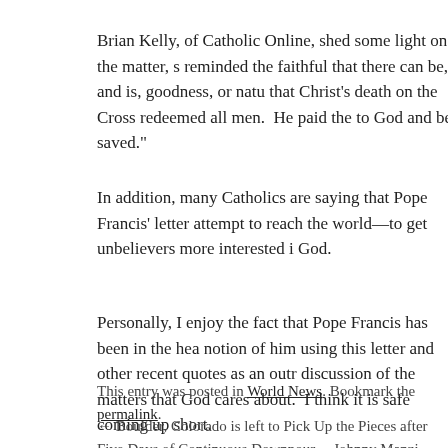Brian Kelly, of Catholic Online, shed some light on the matter, s reminded the faithful that there can be, and is, goodness, or natu that Christ’s death on the Cross redeemed all men.  He paid the to God and be saved.”
In addition, many Catholics are saying that Pope Francis’ letter attempt to reach the world—to get unbelievers more interested i God.
Personally, I enjoy the fact that Pope Francis has been in the hea notion of him using this letter and other recent quotes as an outr discussion of the matters that God cares about.  I think it is safe coming up short.
This entry was posted in World News. Bookmark the permalink.
← Boulder, Colorado is left to Pick Up the Pieces after Five Days of Continuous Downpour.    Johnny Manzi